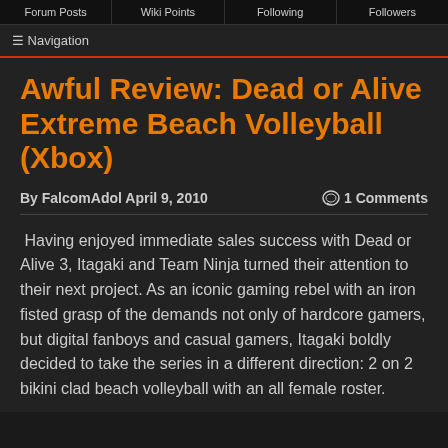Forum Posts | Wiki Points | Following | Followers
≡ Navigation
Awful Review: Dead or Alive Extreme Beach Volleyball (Xbox)
By FalcomAdol April 9, 2010   💬 1 Comments
Having enjoyed immediate sales success with Dead or Alive 3, Itagaki and Team Ninja turned their attention to their next project. As an iconic gaming rebel with an iron fisted grasp of the demands not only of hardcore gamers, but digital fanboys and casual gamers, Itagaki boldly decided to take the series in a different direction: 2 on 2 bikini clad beach volleyball with an all female roster.